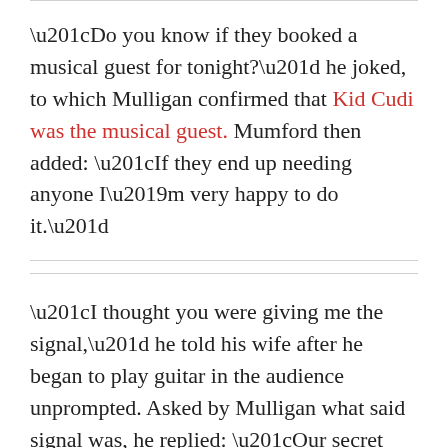“Do you know if they booked a musical guest for tonight?” he joked, to which Mulligan confirmed that Kid Cudi was the musical guest. Mumford then added: “If they end up needing anyone I’m very happy to do it.”
“I thought you were giving me the signal,” he told his wife after he began to play guitar in the audience unprompted. Asked by Mulligan what said signal was, he replied: “Our secret couple signal for ‘Play the guitar.’”